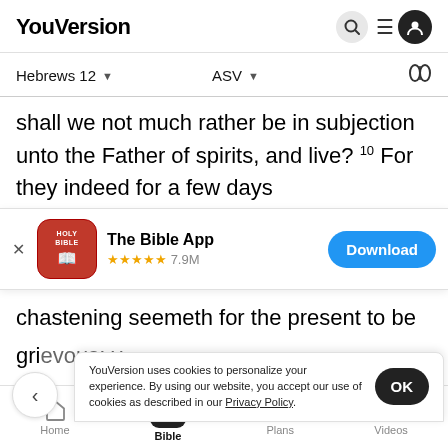YouVersion
Hebrews 12 | ASV
shall we not much rather be in subjection unto the Father of spirits, and live? 10 For they indeed for a few days
[Figure (screenshot): The Bible App download banner with app icon (Holy Bible), 4.9 stars, 7.9M ratings, and a blue Download button]
chastening seemeth for the present to be not joyous but grievous; y... th... at...
YouVersion uses cookies to personalize your experience. By using our website, you accept our use of cookies as described in our Privacy Policy.
righteousness. 11 Wherefore lift up the hands that hang
Home | Bible | Plans | Videos